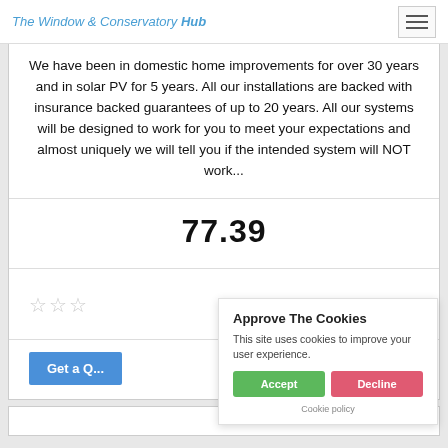The Window & Conservatory Hub
We have been in domestic home improvements for over 30 years and in solar PV for 5 years. All our installations are backed with insurance backed guarantees of up to 20 years. All our systems will be designed to work for you to meet your expectations and almost uniquely we will tell you if the intended system will NOT work...
77.39
[Figure (other): Star rating display showing outline/empty stars]
Get a Q...
Approve The Cookies
This site uses cookies to improve your user experience.
Accept | Decline
Cookie policy